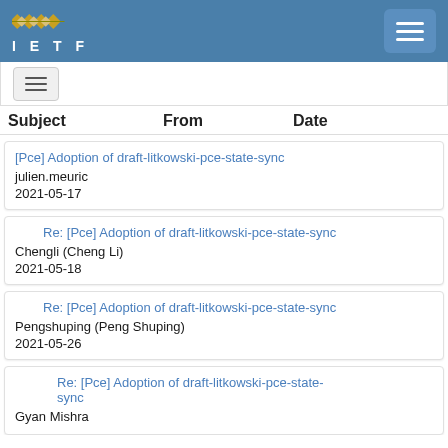IETF
Subject   From   Date
[Pce] Adoption of draft-litkowski-pce-state-sync | julien.meuric | 2021-05-17
Re: [Pce] Adoption of draft-litkowski-pce-state-sync | Chengli (Cheng Li) | 2021-05-18
Re: [Pce] Adoption of draft-litkowski-pce-state-sync | Pengshuping (Peng Shuping) | 2021-05-26
Re: [Pce] Adoption of draft-litkowski-pce-state-sync | Gyan Mishra